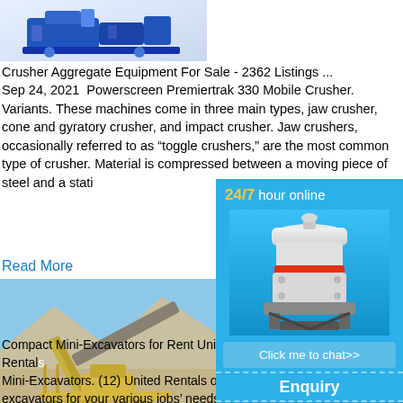[Figure (photo): Blue industrial crusher aggregate equipment machine photo]
Crusher Aggregate Equipment For Sale - 2362 Listings ...
Sep 24, 2021  Powerscreen Premiertrak 330 Mobile Crusher. Variants. These machines come in three main types, jaw crusher, cone and gyratory crusher, and impact crusher. Jaw crushers, occasionally referred to as “toggle crushers,” are the most common type of crusher. Material is compressed between a moving piece of steel and a stationary piece...
Read More
[Figure (photo): Photo of a compact mini-excavator / crushing equipment at a quarry site with conveyor belts and rocky terrain]
[Figure (photo): Advertisement sidebar: 24/7 hour online, white cone crusher machine, Click me to chat>>, Enquiry, limingjlmofen]
Compact Mini-Excavators for Rent United Rentals Mini-Excavators. (12) United Rentals offers excavators for your various jobs' needs. The compact size of a backhoe but the heav...